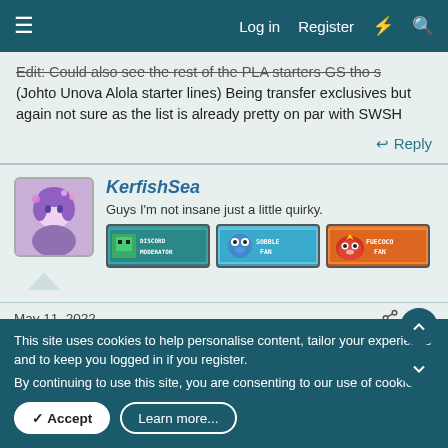Log in  Register
Edit: Could also see the rest of the PLA starters GS-tho-s (Johto Unova Alola starter lines) Being transfer exclusives but again not sure as the list is already pretty on par with SWSH
Reply
KerfishSea
Guys I'm not insane just a little quirky.
[Figure (screenshot): User badges: Discord Moderator, Sobble Fan, Fuecoco Fan]
May 11, 2022  #31
I actually hope Alphas come back too. Beeg Pokemon go brrrrr
This site uses cookies to help personalise content, tailor your experience and to keep you logged in if you register.
By continuing to use this site, you are consenting to our use of cookies.
Accept  Learn more...